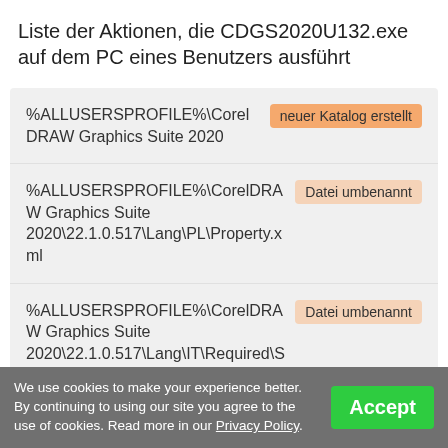Liste der Aktionen, die CDGS2020U132.exe auf dem PC eines Benutzers ausführt
| Path | Action |
| --- | --- |
| %ALLUSERSPROFILE%\CorelDRAW Graphics Suite 2020 | neuer Katalog erstellt |
| %ALLUSERSPROFILE%\CorelDRAW Graphics Suite 2020\22.1.0.517\Lang\PL\Property.xml | Datei umbenannt |
| %ALLUSERSPROFILE%\CorelDRAW Graphics Suite 2020\22.1.0.517\Lang\IT\Required\Success.htm | Datei umbenannt |
We use cookies to make your experience better. By continuing to using our site you agree to the use of cookies. Read more in our Privacy Policy.